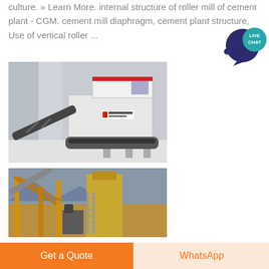culture. » Learn More. internal structure of roller mill of cement plant - CGM. cement mill diaphragm, cement plant structure, Use of vertical roller ...
[Figure (photo): Industrial mobile crusher/roller mill machine render, white and black, with conveyor belt extending to the left]
[Figure (photo): Outdoor photo of yellow industrial cement plant structure with conveyor belt and tall silo]
Get a Quote
WhatsApp